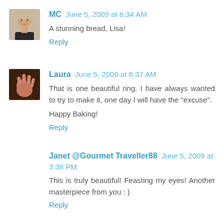[Figure (photo): Avatar photo of MC, a woman with light hair]
MC  June 5, 2009 at 6:34 AM
A stunning bread, Lisa!
Reply
[Figure (photo): Avatar photo of Laura, showing a hand or close-up]
Laura  June 5, 2009 at 8:37 AM
That is one beautiful ring. I have always wanted to try to make it, one day I will have the "excuse".
Happy Baking!
Reply
Janet @Gourmet Traveller88  June 5, 2009 at 3:38 PM
This is truly beautiful! Feasting my eyes! Another masterpiece from you : )
Reply